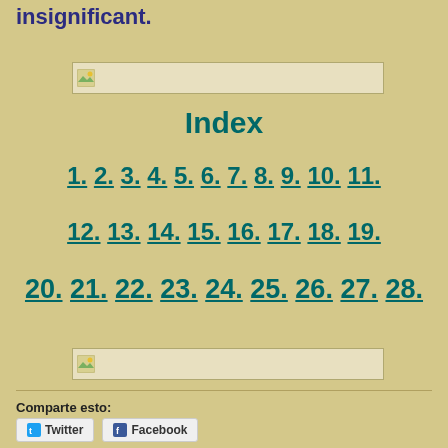insignificant.
[Figure (other): Image placeholder top]
Index
1. 2. 3. 4. 5. 6. 7. 8. 9. 10. 11.
12. 13. 14. 15. 16. 17. 18. 19.
20. 21. 22. 23. 24. 25. 26. 27. 28.
[Figure (other): Image placeholder bottom]
Comparte esto:
Twitter  Facebook